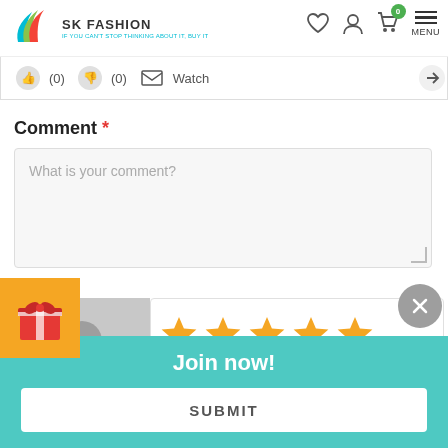SK FASHION — IF YOU CAN'T STOP THINKING ABOUT IT, BUY IT
[Figure (screenshot): Icon bar showing thumbs up (0), thumbs down (0), envelope, Watch label, and partial arrow icon]
Comment *
What is your comment?
[Figure (illustration): Orange gift box icon on left side]
[Figure (illustration): Gray avatar/user placeholder image]
[Figure (illustration): Five gold star rating]
Mark
[Figure (illustration): Gray circular close/X button]
Join now!
SUBMIT